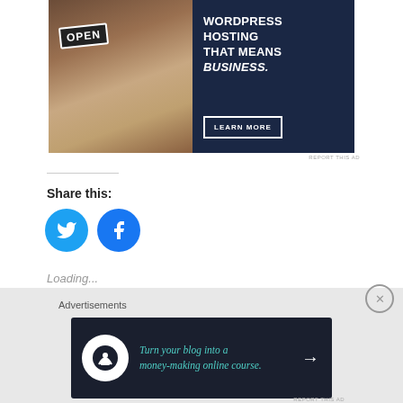[Figure (photo): WordPress hosting advertisement banner with person holding OPEN sign and dark blue text panel reading 'WORDPRESS HOSTING THAT MEANS BUSINESS.' with a LEARN MORE button]
REPORT THIS AD
Share this:
[Figure (illustration): Twitter and Facebook circular social share buttons]
Loading...
Advertisements
[Figure (illustration): Advertisement banner: Turn your blog into a money-making online course. with arrow button]